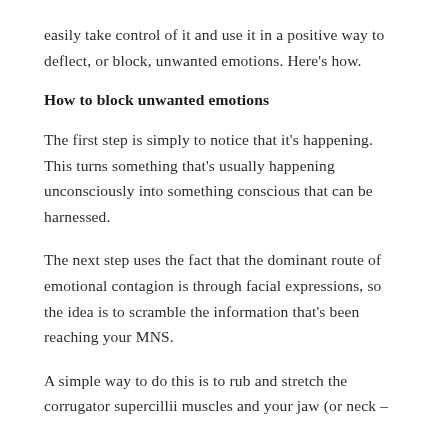easily take control of it and use it in a positive way to deflect, or block, unwanted emotions. Here's how.
How to block unwanted emotions
The first step is simply to notice that it's happening. This turns something that's usually happening unconsciously into something conscious that can be harnessed.
The next step uses the fact that the dominant route of emotional contagion is through facial expressions, so the idea is to scramble the information that's been reaching your MNS.
A simple way to do this is to rub and stretch the corrugator supercillii muscles and your jaw (or neck –